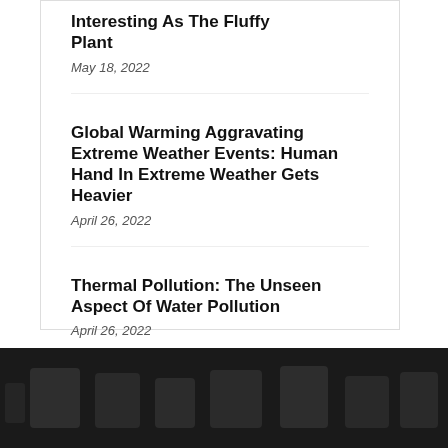Interesting As The Fluffy Plant
May 18, 2022
Global Warming Aggravating Extreme Weather Events: Human Hand In Extreme Weather Gets Heavier
April 26, 2022
Thermal Pollution: The Unseen Aspect Of Water Pollution
April 26, 2022
[Figure (photo): Dark footer area with dimly visible icon graphics on a near-black background]